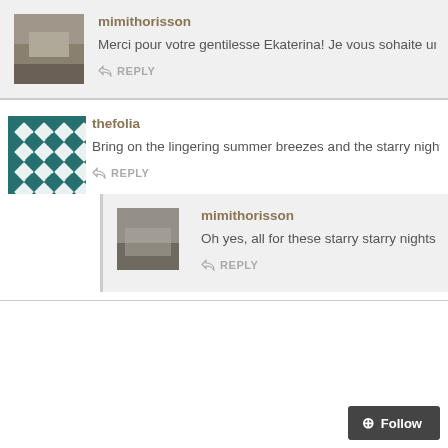[Figure (photo): Avatar photo of mimithorisson showing a field/landscape]
mimithorisson
Merci pour votre gentilesse Ekaterina! Je vous sohaite un trè...
REPLY
[Figure (illustration): Decorative teal and white geometric diamond pattern avatar for thefolia]
thefolia
Bring on the lingering summer breezes and the starry nights! Happy N...
REPLY
[Figure (photo): Avatar photo of mimithorisson showing a misty field landscape]
mimithorisson
Oh yes, all for these starry starry nights and full moon! Happ...
REPLY